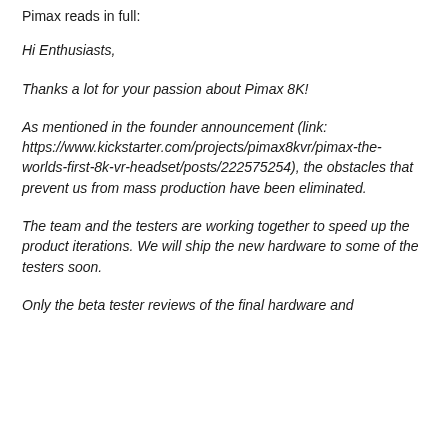Pimax reads in full:
Hi Enthusiasts,
Thanks a lot for your passion about Pimax 8K!
As mentioned in the founder announcement (link: https://www.kickstarter.com/projects/pimax8kvr/pimax-the-worlds-first-8k-vr-headset/posts/222575254), the obstacles that prevent us from mass production have been eliminated.
The team and the testers are working together to speed up the product iterations. We will ship the new hardware to some of the testers soon.
Only the beta tester reviews of the final hardware and